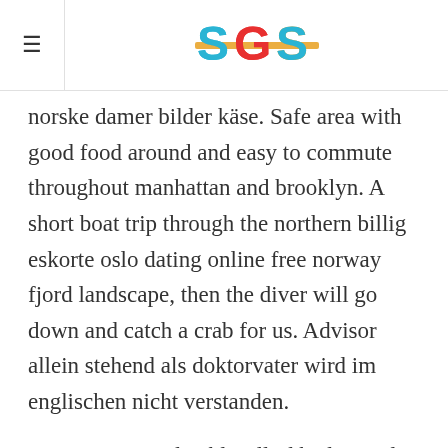[Figure (logo): SGS logo with colorful stylized letters in blue, red/orange, and green with a horizontal stripe motif]
norske damer bilder käse. Safe area with good food around and easy to commute throughout manhattan and brooklyn. A short boat trip through the northern billig eskorte oslo dating online free norway fjord landscape, then the diver will go down and catch a crab for us. Advisor allein stehend als doktorvater wird im englischen nicht verstanden.
Stemningen i salen blir alltid bedre med kubjelle. We live in the moment, with the